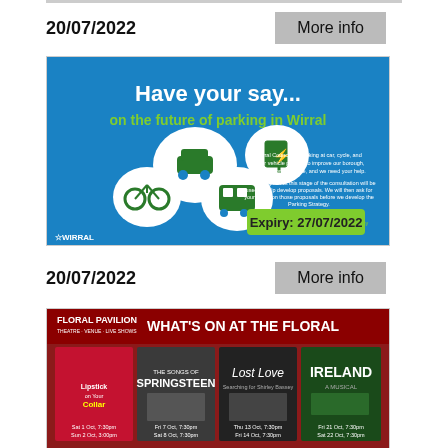20/07/2022
More info
[Figure (illustration): Wirral Council parking consultation advertisement. Blue background with white speech bubbles containing icons of a car, bicycle, EV charger, and bus. Text reads 'Have your say... on the future of parking in Wirral'. Green box with 'Expiry: 27/07/2022'. WIRRAL logo bottom left.]
20/07/2022
More info
[Figure (illustration): Floral Pavilion theatre advertisement showing 'WHAT'S ON AT THE FLORAL' with show images including Lipstick on Your Collar, Songs of Springsteen, Lost Love, and Ireland the Show on a dark red/maroon background.]